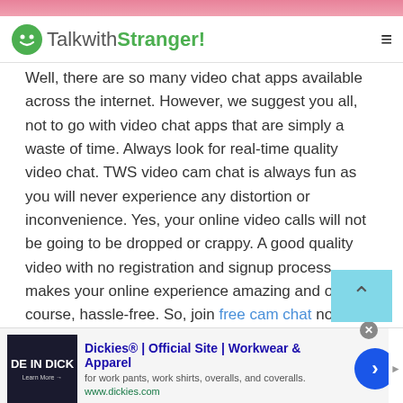[Figure (logo): TalkwithStranger! website logo with green smiley face icon]
Well, there are so many video chat apps available across the internet. However, we suggest you all, not to go with video chat apps that are simply a waste of time. Always look for real-time quality video chat. TWS video cam chat is always fun as you will never experience any distortion or inconvenience. Yes, your online video calls will not be going to be dropped or crappy. A good quality video with no registration and signup process makes your online experience amazing and of course, hassle-free. So, join free cam chat now!
[Figure (screenshot): Advertisement banner for Dickies Official Site - Workwear & Apparel showing 'DE IN DICK' text on dark background image, with ad title, description 'for work pants, work shirts, overalls, and coveralls.' and URL www.dickies.com]